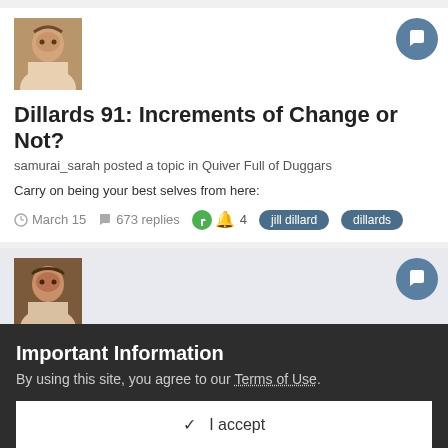[Figure (photo): Small portrait avatar of a woman in classical painting style]
Dillards 91: Increments of Change or Not?
samurai_sarah posted a topic in Quiver Full of Duggars
Carry on being your best selves from here:
March 15   673 replies   4   jill dillard   dillards
[Figure (photo): Small portrait avatar of a woman in classical painting style]
Dillards 84: Craving Attention
samurai_sarah posted a topic in Quiver Full of Duggars
Important Information
By using this site, you agree to our Terms of Use.
✓  I accept